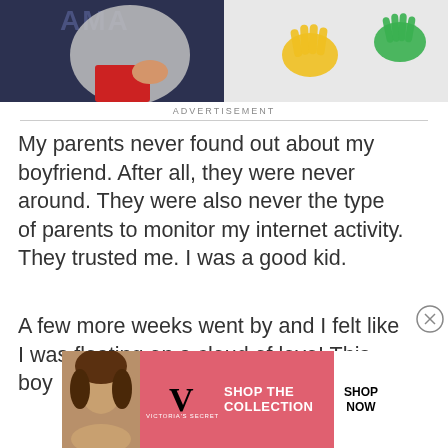[Figure (photo): A person wearing a gray 'MAMA' sweatshirt and red shorts holding a baby, next to an image of colorful green and yellow handprints on a white background]
ADVERTISEMENT
My parents never found out about my boyfriend. After all, they were never around. They were also never the type of parents to monitor my internet activity. They trusted me. I was a good kid.
A few more weeks went by and I felt like I was floating on a cloud of love! This boy
[Figure (screenshot): Victoria's Secret advertisement banner with pink background, model photo, VS logo, text 'SHOP THE COLLECTION' and 'SHOP NOW' button]